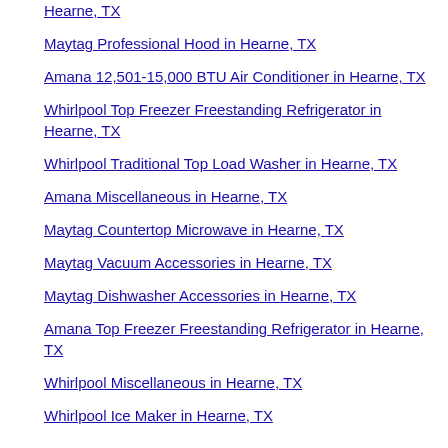Hearne, TX
Maytag Professional Hood in Hearne, TX
Amana 12,501-15,000 BTU Air Conditioner in Hearne, TX
Whirlpool Top Freezer Freestanding Refrigerator in Hearne, TX
Whirlpool Traditional Top Load Washer in Hearne, TX
Amana Miscellaneous in Hearne, TX
Maytag Countertop Microwave in Hearne, TX
Maytag Vacuum Accessories in Hearne, TX
Maytag Dishwasher Accessories in Hearne, TX
Amana Top Freezer Freestanding Refrigerator in Hearne, TX
Whirlpool Miscellaneous in Hearne, TX
Whirlpool Ice Maker in Hearne, TX